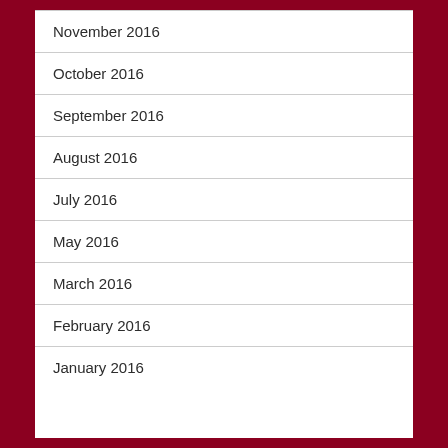November 2016
October 2016
September 2016
August 2016
July 2016
May 2016
March 2016
February 2016
January 2016